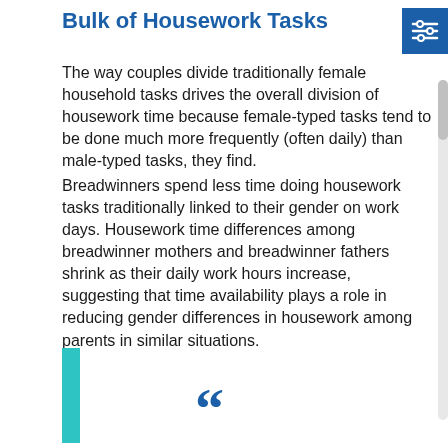Bulk of Housework Tasks
The way couples divide traditionally female household tasks drives the overall division of housework time because female-typed tasks tend to be done much more frequently (often daily) than male-typed tasks, they find.
Breadwinners spend less time doing housework tasks traditionally linked to their gender on work days. Housework time differences among breadwinner mothers and breadwinner fathers shrink as their daily work hours increase, suggesting that time availability plays a role in reducing gender differences in housework among parents in similar situations.